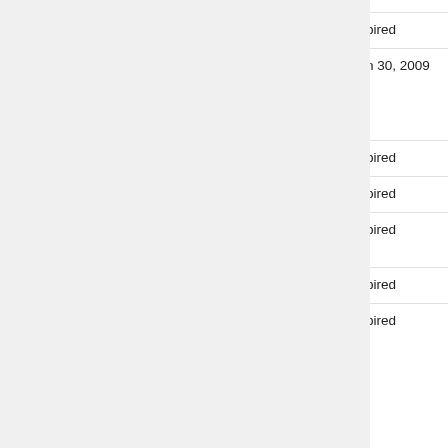| Institution | Subject | Date | Candidates |
| --- | --- | --- | --- |
| U Hamburg | math phys/algebra (W1) | expired | Christoph Wockel [48] |
| U Hannover | financial (W3) | Jan 30, 2009 | Stefan Weber [...] Christoph Kühn, Thorsten Schmidt [50] |
| U Hannover | analysis (W2) | expired | Bernhard Krötz [5...] |
| U Hannover | alg geom (W1) | expired | Matthias Schütt [...] |
| U Heidelberg | sci comp (W3) | expired | Peter Bastian [53] |
| U Hildesheim | alg/num thy | expired | Jürgen Sander |
| TU Kaiserslautern | func anal (W3) | expired | Martin Grothau... [54] |